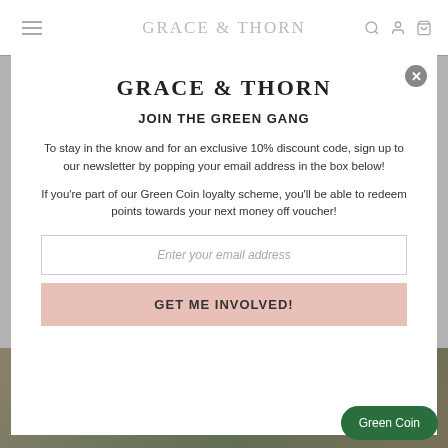GRACE & THORN
GRACE & THORN
JOIN THE GREEN GANG
To stay in the know and for an exclusive 10% discount code, sign up to our newsletter by popping your email address in the box below!
If you're part of our Green Coin loyalty scheme, you'll be able to redeem points towards your next money off voucher!
Enter your email address
GET ME INVOLVED!
Green Coin